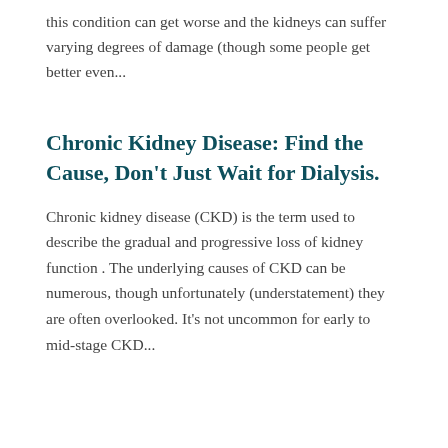this condition can get worse and the kidneys can suffer varying degrees of damage (though some people get better even...
Chronic Kidney Disease: Find the Cause, Don't Just Wait for Dialysis.
Chronic kidney disease (CKD) is the term used to describe the gradual and progressive loss of kidney function . The underlying causes of CKD can be numerous, though unfortunately (understatement) they are often overlooked. It's not uncommon for early to mid-stage CKD...